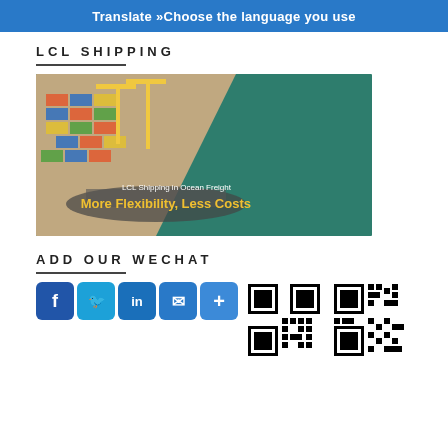Translate »Choose the language you use
LCL SHIPPING
[Figure (photo): Aerial view of a cargo port with shipping containers and ocean freight vessels. Text overlay reads 'LCL Shipping in Ocean Freight - More Flexibility, Less Costs']
ADD OUR WECHAT
[Figure (infographic): Social media icons (Facebook, Twitter, LinkedIn, Email, More) and two QR codes for WeChat]